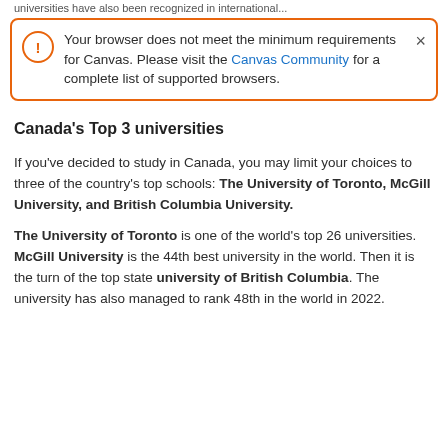universities have also been recognized in international...
Your browser does not meet the minimum requirements for Canvas. Please visit the Canvas Community for a complete list of supported browsers.
Canada's Top 3 universities
If you've decided to study in Canada, you may limit your choices to three of the country's top schools: The University of Toronto, McGill University, and British Columbia University.
The University of Toronto is one of the world's top 26 universities. McGill University is the 44th best university in the world. Then it is the turn of the top state university of British Columbia. The university has also managed to rank 48th in the world in 2022.